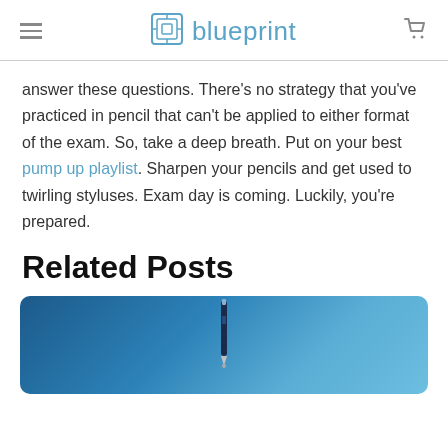blueprint
answer these questions. There’s no strategy that you’ve practiced in pencil that can’t be applied to either format of the exam. So, take a deep breath. Put on your best pump up playlist. Sharpen your pencils and get used to twirling styluses. Exam day is coming. Luckily, you’re prepared.
Related Posts
[Figure (photo): A stylus pen against a blue gradient background, related posts image thumbnail]